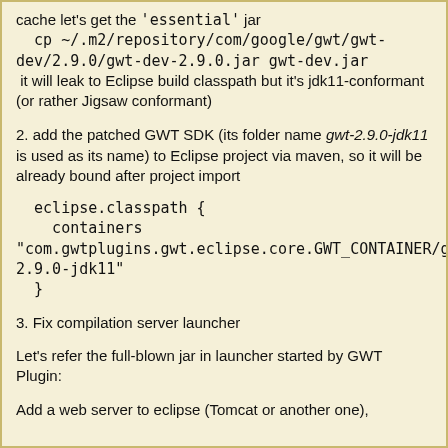cache let's get the 'essential' jar
  cp ~/.m2/repository/com/google/gwt/gwt-dev/2.9.0/gwt-dev-2.9.0.jar gwt-dev.jar
 it will leak to Eclipse build classpath but it's jdk11-conformant (or rather Jigsaw conformant)
2. add the patched GWT SDK (its folder name gwt-2.9.0-jdk11 is used as its name) to Eclipse project via maven, so it will be already bound after project import
eclipse.classpath {
    containers "com.gwtplugins.gwt.eclipse.core.GWT_CONTAINER/gwt-2.9.0-jdk11"
  }
3. Fix compilation server launcher
Let's refer the full-blown jar in launcher started by GWT Plugin:
Add a web server to eclipse (Tomcat or another one),